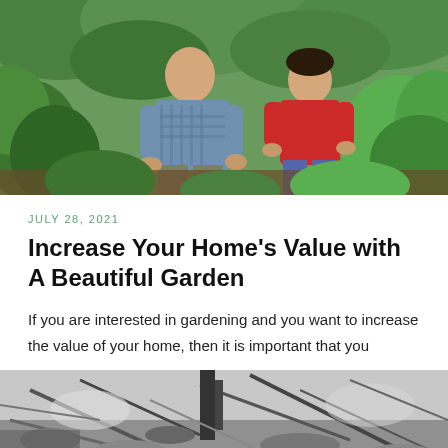[Figure (photo): Two people, an adult and a child, gardening together among lush green plants outdoors. The adult wears a blue checked shirt and the child wears a red shirt.]
JULY 28, 2021
Increase Your Home's Value with A Beautiful Garden
If you are interested in gardening and you want to increase the value of your home, then it is important that you
[Figure (photo): Black and white photo of a garden scene with debris, leaves, broken materials on the ground.]